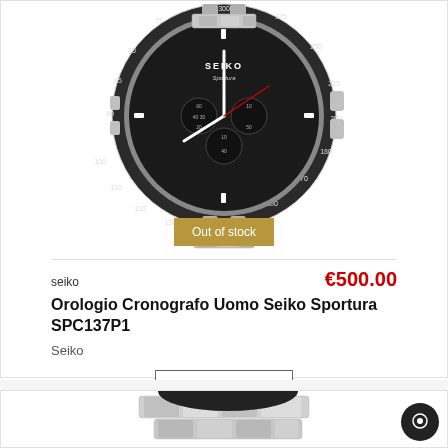[Figure (photo): Seiko Sportura SPC137P1 chronograph watch with black dial, steel bracelet, tachymeter bezel. Out of stock badge overlaid in golden-brown color.]
seiko
€500.00
Orologio Cronografo Uomo Seiko Sportura SPC137P1
Seiko
View
[Figure (photo): Partial view of a second watch product (steel bracelet visible) at the bottom of the page.]